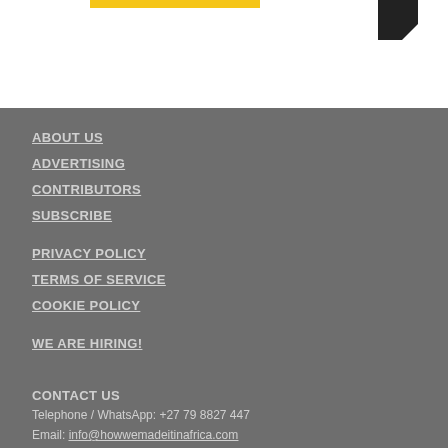[Figure (other): Top white section with yellow bar and black triangular shape — partial logo/banner visible at top of page]
ABOUT US
ADVERTISING
CONTRIBUTORS
SUBSCRIBE
PRIVACY POLICY
TERMS OF SERVICE
COOKIE POLICY
WE ARE HIRING!
CONTACT US
Telephone / WhatsApp: +27 79 8827 447
Email: info@howwemadeitinafrica.com